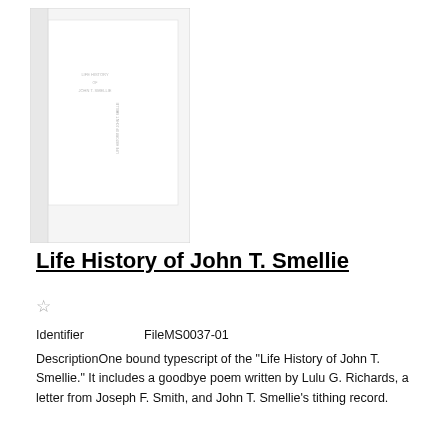[Figure (photo): Thumbnail image of the Life History of John T. Smellie document/book cover, shown as a small scanned page with faint text reading 'LIFE HISTORY OF JOHN T. SMELLIE'. A spine or binding is visible on the left side.]
Life History of John T. Smellie
☆
Identifier    FileMS0037-01
DescriptionOne bound typescript of the "Life History of John T. Smellie." It includes a goodbye poem written by Lulu G. Richards, a letter from Joseph F. Smith, and John T. Smellie's tithing record.